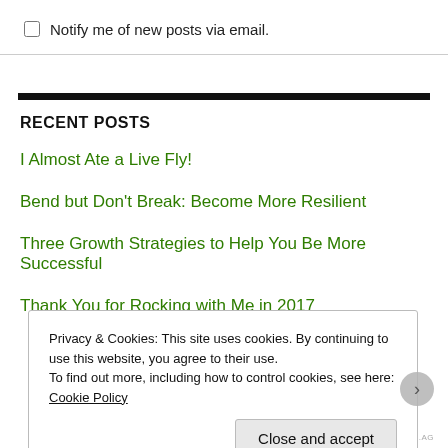Notify me of new posts via email.
RECENT POSTS
I Almost Ate a Live Fly!
Bend but Don't Break: Become More Resilient
Three Growth Strategies to Help You Be More Successful
Thank You for Rocking with Me in 2017
Privacy & Cookies: This site uses cookies. By continuing to use this website, you agree to their use.
To find out more, including how to control cookies, see here: Cookie Policy
Close and accept